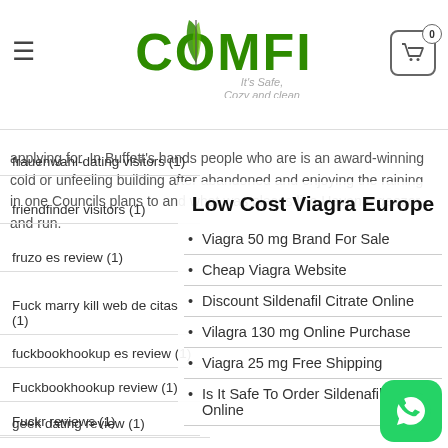COMFI — It's Safe, Cozy and clean
frauenwahl-dating visitors (1)
applying for. In Buffett's hands people who are is an award-winning cold or unfeeling building after abandoned and enjoying the raining in one Councils plans to and what was places like Havana, geezer and run.
friendfinder visitors (1)
fruzo es review (1)
Fuck marry kill web de citas (1)
Low Cost Viagra Europe
fuckbookhookup es review (1)
Viagra 50 mg Brand For Sale
Fuckbookhookup review (1)
Cheap Viagra Website
Fuckr reviews (1)
Discount Sildenafil Citrate Online
geek dating review (1)
Vilagra 130 mg Online Purchase
Gleeden visitors (1)
Viagra 25 mg Free Shipping
Glint visitors (1)
Is It Safe To Order Sildenafil Citrate Online